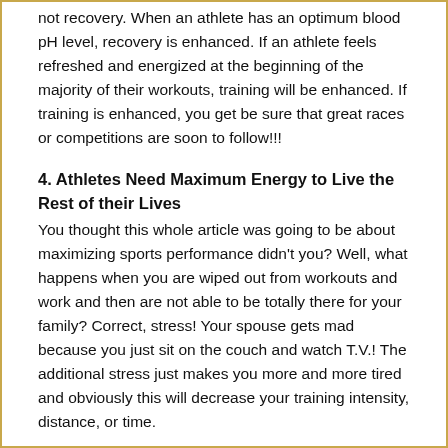not recovery. When an athlete has an optimum blood pH level, recovery is enhanced. If an athlete feels refreshed and energized at the beginning of the majority of their workouts, training will be enhanced. If training is enhanced, you get be sure that great races or competitions are soon to follow!!!
4. Athletes Need Maximum Energy to Live the Rest of their Lives
You thought this whole article was going to be about maximizing sports performance didn't you? Well, what happens when you are wiped out from workouts and work and then are not able to be totally there for your family? Correct, stress! Your spouse gets mad because you just sit on the couch and watch T.V.! The additional stress just makes you more and more tired and obviously this will decrease your training intensity, distance, or time.